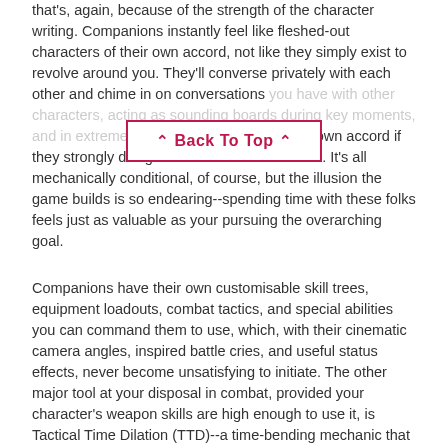that's, again, because of the strength of the character writing. Companions instantly feel like fleshed-out characters of their own accord, not like they simply exist to revolve around you. They'll converse privately with each other and chime in on conversations you have with other characters, acting as sounding boards during key moments, and in extreme situations, leave you of their own accord if they strongly disagree with a course of action. It's all mechanically conditional, of course, but the illusion the game builds is so endearing--spending time with these folks feels just as valuable as your pursuing the overarching goal.
[Figure (other): Back To Top button with red border and red text and upward chevron arrows on both sides]
Companions have their own customisable skill trees, equipment loadouts, combat tactics, and special abilities you can command them to use, which, with their cinematic camera angles, inspired battle cries, and useful status effects, never become unsatisfying to initiate. The other major tool at your disposal in combat, provided your character's weapon skills are high enough to use it, is Tactical Time Dilation (TTD)--a time-bending mechanic that slows the action to a crawl, allowing you to give yourself some breathing room in order to analyse enemies and take the time to execute precision attacks. Hitting certain locations on enemies will let you do things like cripple or maim them, or inflict weapon-specific effects like bleed damage or knocking them unconscious. Using TTD tactically to take out key targets and attempt to control the flow of battle makes it an entertaining and useful tool, but its